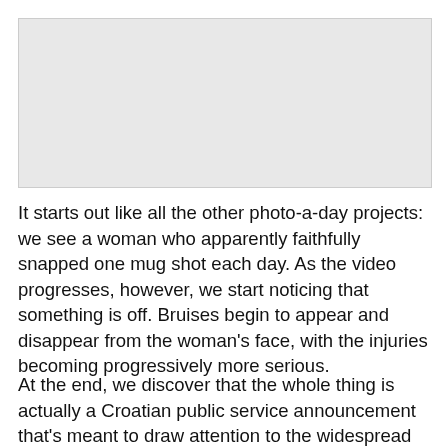[Figure (photo): A light gray rectangular placeholder image at the top of the page.]
It starts out like all the other photo-a-day projects: we see a woman who apparently faithfully snapped one mug shot each day. As the video progresses, however, we start noticing that something is off. Bruises begin to appear and disappear from the woman’s face, with the injuries becoming progressively more serious.
At the end, we discover that the whole thing is actually a Croatian public service announcement that’s meant to draw attention to the widespread problem of